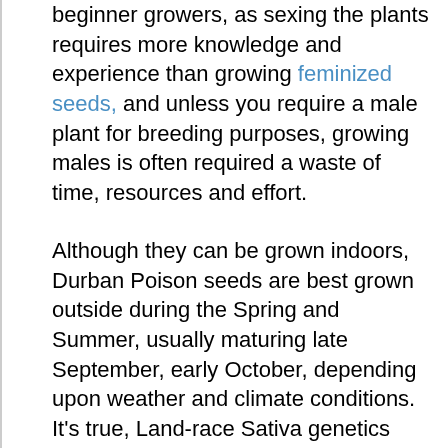beginner growers, as sexing the plants requires more knowledge and experience than growing feminized seeds, and unless you require a male plant for breeding purposes, growing males is often required a waste of time, resources and effort.
Although they can be grown indoors, Durban Poison seeds are best grown outside during the Spring and Summer, usually maturing late September, early October, depending upon weather and climate conditions. It's true, Land-race Sativa genetics produce a tall, strong plant, capable of reaching up to 230 cm tall when fully mature. Strong, thick stems and branches produce large, swollen buds with long slender leaves, all of which are generously coated in thick, rich resin as maturity approaches.